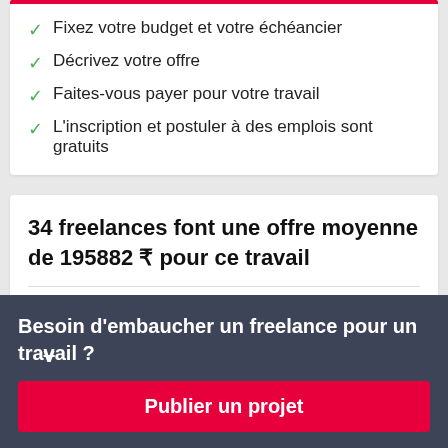Fixez votre budget et votre échéancier
Décrivez votre offre
Faites-vous payer pour votre travail
L'inscription et postuler à des emplois sont gratuits
34 freelances font une offre moyenne de 195882 ₹ pour ce travail
Besoin d'embaucher un freelance pour un travail ?
Publier un projet